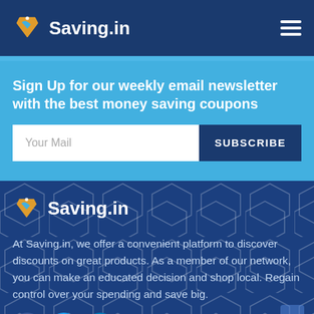Saving.in
Sign Up for our weekly email newsletter with the best money saving coupons
Your Mail
[Figure (logo): Saving.in logo in footer]
At Saving.in, we offer a convenient platform to discover discounts on great products. As a member of our network, you can make an educated decision and shop local. Regain control over your spending and save big.
[Figure (infographic): Social media icons: Facebook, Twitter, LinkedIn]